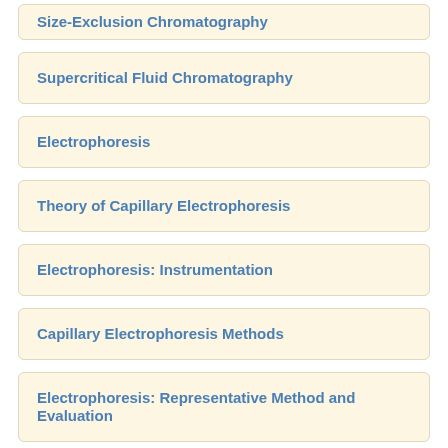Size-Exclusion Chromatography
Supercritical Fluid Chromatography
Electrophoresis
Theory of Capillary Electrophoresis
Electrophoresis: Instrumentation
Capillary Electrophoresis Methods
Electrophoresis: Representative Method and Evaluation